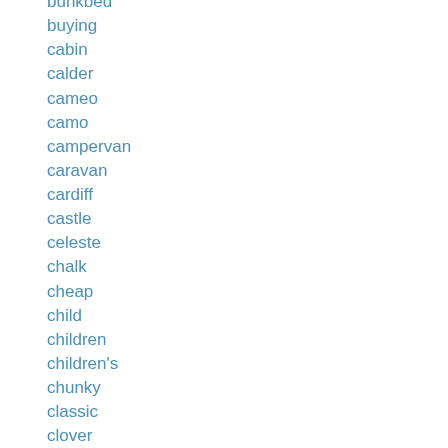bunkbed
buying
cabin
calder
cameo
camo
campervan
caravan
cardiff
castle
celeste
chalk
cheap
child
children
children's
chunky
classic
clover
coco
colonial
combination
comfortable